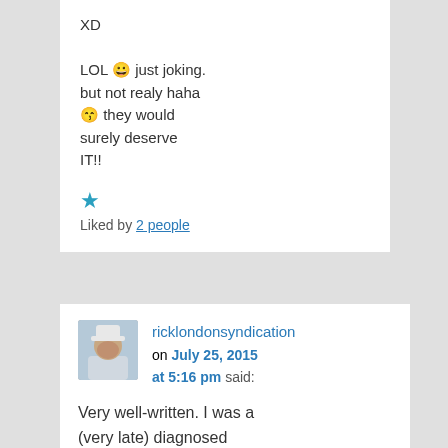XD

LOL 😀 just joking. but not realy haha 😛 they would surely deserve IT!!
Liked by 2 people
ricklondonsyndication on July 25, 2015 at 5:16 pm said:
Very well-written. I was a (very late) diagnosed aspie/autistic who was from an NPD scapegoat